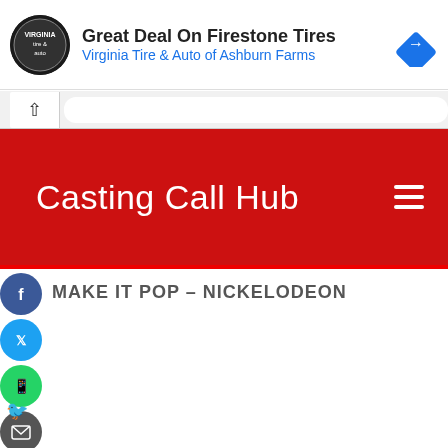[Figure (screenshot): Ad banner for Virginia Tire & Auto of Ashburn Farms with Firestone Tires deal, showing circular logo, ad text, and blue navigation icon]
[Figure (screenshot): Browser navigation bar with up chevron and URL input field]
Casting Call Hub
MAKE IT POP – NICKELODEON